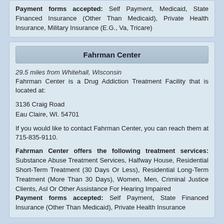Payment forms accepted: Self Payment, Medicaid, State Financed Insurance (Other Than Medicaid), Private Health Insurance, Military Insurance (E.G., Va, Tricare)
Fahrman Center
29.5 miles from Whitehall, Wisconsin
Fahrman Center is a Drug Addiction Treatment Facility that is located at:
3136 Craig Road
Eau Claire, WI. 54701
If you would like to contact Fahrman Center, you can reach them at 715-835-9110.
Fahrman Center offers the following treatment services: Substance Abuse Treatment Services, Halfway House, Residential Short-Term Treatment (30 Days Or Less), Residential Long-Term Treatment (More Than 30 Days), Women, Men, Criminal Justice Clients, Asl Or Other Assistance For Hearing Impaired
Payment forms accepted: Self Payment, State Financed Insurance (Other Than Medicaid), Private Health Insurance
Gillian Clinical...